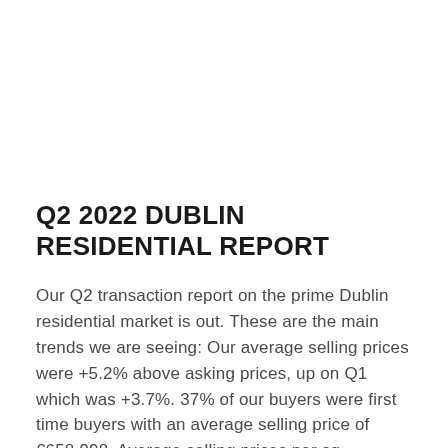Q2 2022 DUBLIN RESIDENTIAL REPORT
Our Q2 transaction report on the prime Dublin residential market is out. These are the main trends we are seeing: Our average selling prices were +5.2% above asking prices, up on Q1 which was +3.7%. 37% of our buyers were first time buyers with an average selling price of €658,998. Average selling prices per sq....